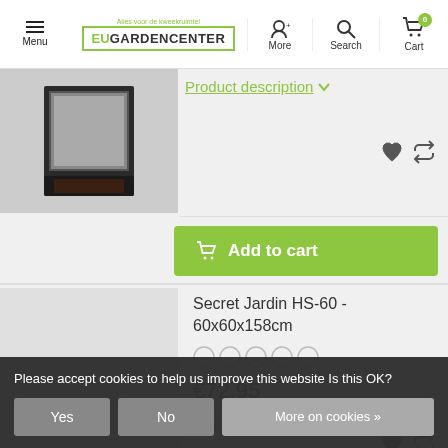Menu | EU GARDENCENTER | More | Search | Cart (0)
[Figure (screenshot): Partial product image - dark colored item (top card)]
Product description ▾
Add to cart
Secret Jardin HS-60 - 60x60x158cm
€72,95
Product description ▾
Please accept cookies to help us improve this website Is this OK?
Yes
No
More on cookies »